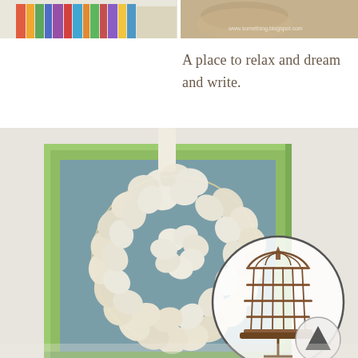[Figure (photo): Top strip showing two partial photos: left side shows colorful books/items on a shelf, right side shows a close-up of fabric or clothing with a watermark 'www.something.blogspot.com']
A place to relax and dream and write.
[Figure (photo): A photo of a decorative cream/beige floral wreath made of paper or fabric flowers, hanging on a light green framed chalkboard against a white wall. In the lower right portion of the image, there is a circular inset showing a vintage-style brown wire birdcage on a stand. A small navigation arrow button is visible in the bottom right corner.]